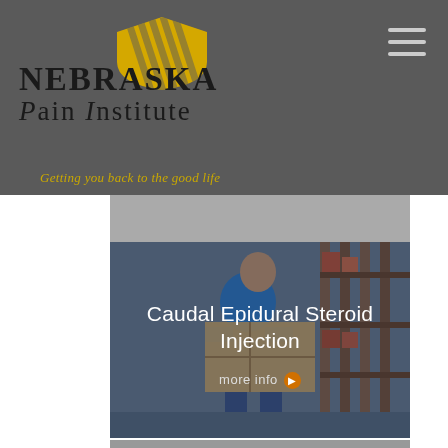[Figure (logo): Nebraska Pain Institute logo with yellow shield icon and organization name text on dark gray header background]
Getting you back to the good life
[Figure (photo): Man in blue polo shirt carrying a cardboard box in a warehouse setting, with semi-transparent dark overlay]
Caudal Epidural Steroid Injection
more info ❯